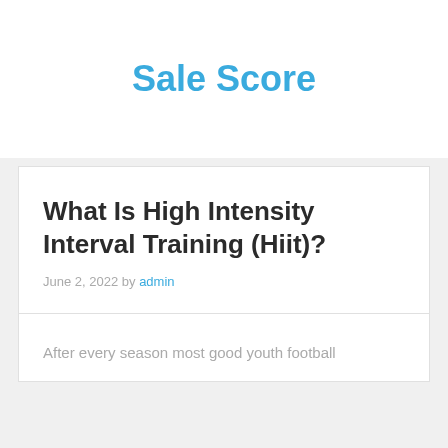Sale Score
What Is High Intensity Interval Training (Hiit)?
June 2, 2022 by admin
After every season most good youth football